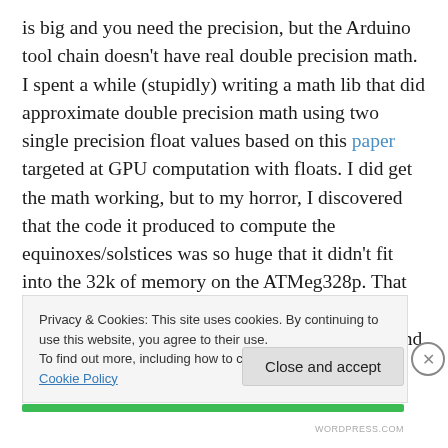is big and you need the precision, but the Arduino tool chain doesn't have real double precision math. I spent a while (stupidly) writing a math lib that did approximate double precision math using two single precision float values based on this paper targeted at GPU computation with floats. I did get the math working, but to my horror, I discovered that the code it produced to compute the equinoxes/solstices was so huge that it didn't fit into the 32k of memory on the ATMeg328p. That was a huge waste of time. I did, however, use the code to generate the next 100 years of solstices and equinoxes and compress
Privacy & Cookies: This site uses cookies. By continuing to use this website, you agree to their use.
To find out more, including how to control cookies, see here: Cookie Policy
Close and accept